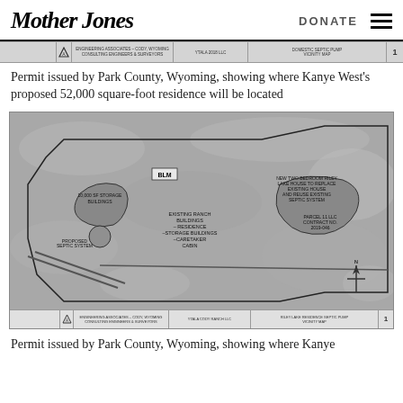Mother Jones | DONATE
[Figure (engineering-diagram): Top engineering/survey title block strip from Park County permit document]
Permit issued by Park County, Wyoming, showing where Kanye West's proposed 52,000 square-foot residence will be located
[Figure (map): Site map/vicinity map from engineering permit showing property outline, BLM land, proposed storm buildings, proposed septic system, existing ranch buildings, new two bedroom Riley Lake house to replace existing house and septic system, and survey information. Issued for Teton Cody Ranch LLC.]
Permit issued by Park County, Wyoming, showing where Kanye